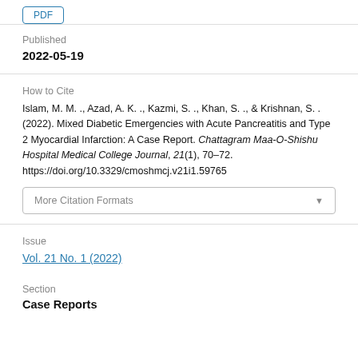Published
2022-05-19
How to Cite
Islam, M. M. ., Azad, A. K. ., Kazmi, S. ., Khan, S. ., & Krishnan, S. . (2022). Mixed Diabetic Emergencies with Acute Pancreatitis and Type 2 Myocardial Infarction: A Case Report. Chattagram Maa-O-Shishu Hospital Medical College Journal, 21(1), 70–72. https://doi.org/10.3329/cmoshmcj.v21i1.59765
More Citation Formats
Issue
Vol. 21 No. 1 (2022)
Section
Case Reports